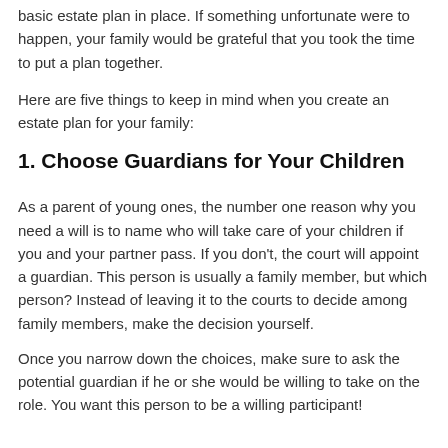basic estate plan in place. If something unfortunate were to happen, your family would be grateful that you took the time to put a plan together.
Here are five things to keep in mind when you create an estate plan for your family:
1. Choose Guardians for Your Children
As a parent of young ones, the number one reason why you need a will is to name who will take care of your children if you and your partner pass. If you don't, the court will appoint a guardian. This person is usually a family member, but which person? Instead of leaving it to the courts to decide among family members, make the decision yourself.
Once you narrow down the choices, make sure to ask the potential guardian if he or she would be willing to take on the role. You want this person to be a willing participant!